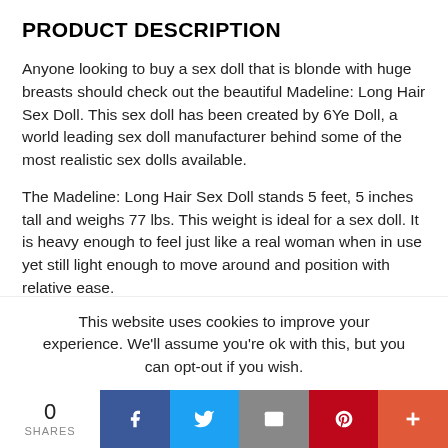PRODUCT DESCRIPTION
Anyone looking to buy a sex doll that is blonde with huge breasts should check out the beautiful Madeline: Long Hair Sex Doll. This sex doll has been created by 6Ye Doll, a world leading sex doll manufacturer behind some of the most realistic sex dolls available.
The Madeline: Long Hair Sex Doll stands 5 feet, 5 inches tall and weighs 77 lbs. This weight is ideal for a sex doll. It is heavy enough to feel just like a real woman when in use yet still light enough to move around and position with relative ease.
Madeline has beautifully sculpted F-Cup breasts which feel every bit as realistic as they look. In fact they are so realistic we would challenge anyone to feel them and tell the difference between them and the real thing. Her bust measures 34 inches while her waist measures 23 inches and her hips measure 35 inches. These
This website uses cookies to improve your experience. We'll assume you're ok with this, but you can opt-out if you wish.
0 SHARES